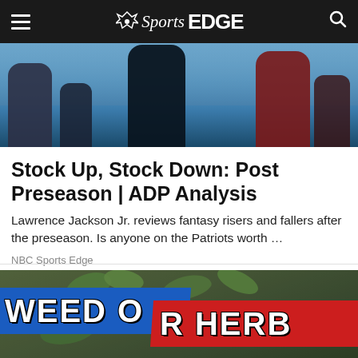NBC Sports EDGE
[Figure (photo): Football players on field, partially visible, blurred background with stadium crowd]
Stock Up, Stock Down: Post Preseason | ADP Analysis
Lawrence Jackson Jr. reviews fantasy risers and fallers after the preseason. Is anyone on the Patriots worth ...
NBC Sports Edge
[Figure (photo): Close-up of plant leaves with overlaid banner text reading WEED OR HERB in bold white letters on blue and red diagonal banners]